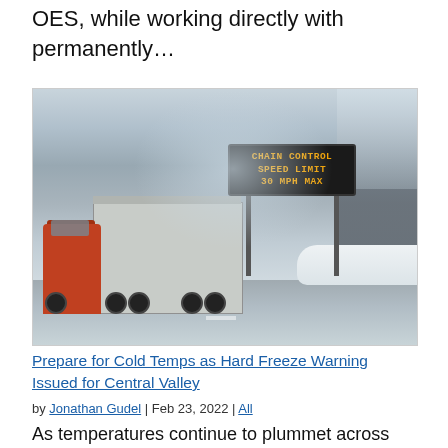OES, while working directly with permanently…
[Figure (photo): A truck drives on a snowy highway with a sign overhead reading 'CHAIN CONTROL SPEED LIMIT 30 MPH MAX'. Snow-covered trees are visible on the right side.]
Prepare for Cold Temps as Hard Freeze Warning Issued for Central Valley
by Jonathan Gudel | Feb 23, 2022 | All
As temperatures continue to plummet across the northern part of the state, the National Weather Service Sacramento has issued a